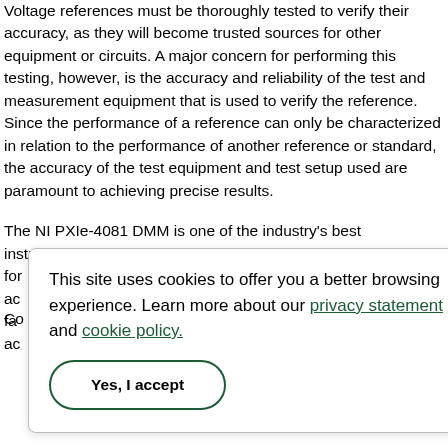Voltage references must be thoroughly tested to verify their accuracy, as they will become trusted sources for other equipment or circuits. A major concern for performing this testing, however, is the accuracy and reliability of the test and measurement equipment that is used to verify the reference. Since the performance of a reference can only be characterized in relation to the performance of another reference or standard, the accuracy of the test equipment and test setup used are paramount to achieving precise results.
The NI PXIe-4081 DMM is one of the industry's best instruments for performing tests on voltage references because of its superior accuracy specifications. The NI PXIe-4081 facilitates high accuracy measurements.
Co...
[Figure (screenshot): Cookie consent modal dialog with text: 'This site uses cookies to offer you a better browsing experience. Learn more about our privacy statement and cookie policy.' with a 'Yes, I accept' button.]